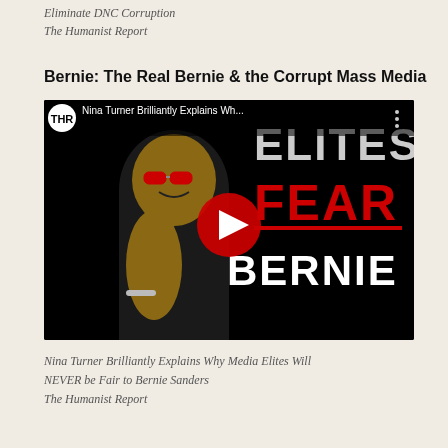Eliminate DNC Corruption
The Humanist Report
Bernie: The Real Bernie & the Corrupt Mass Media
[Figure (screenshot): YouTube video thumbnail showing Nina Turner with text 'ELITES FEAR BERNIE' and YouTube play button overlay. Video title: 'Nina Turner Brilliantly Explains Wh...' with THR channel logo.]
Nina Turner Brilliantly Explains Why Media Elites Will NEVER be Fair to Bernie Sanders
The Humanist Report